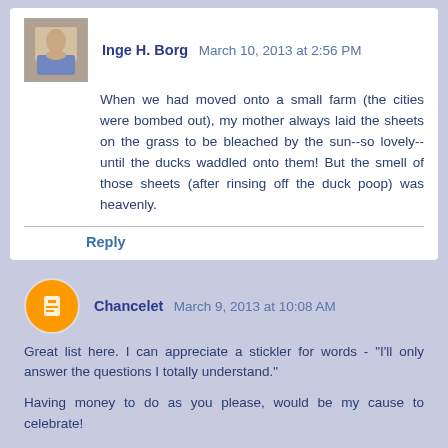Inge H. Borg March 10, 2013 at 2:56 PM
When we had moved onto a small farm (the cities were bombed out), my mother always laid the sheets on the grass to be bleached by the sun--so lovely--until the ducks waddled onto them! But the smell of those sheets (after rinsing off the duck poop) was heavenly.
Reply
Chancelet March 9, 2013 at 10:08 AM
Great list here. I can appreciate a stickler for words - "I'll only answer the questions I totally understand."
Having money to do as you please, would be my cause to celebrate!
Reply